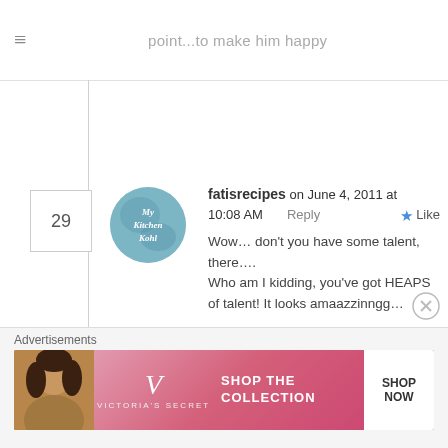point...to make him happy
29
[Figure (illustration): Circular avatar with teal/blue watercolor background and cursive text reading 'My Kitchen Kohl']
fatisrecipes on June 4, 2011 at 10:08 AM  Reply  ★ Like
Wow… don't you have some talent, there….
Who am I kidding, you've got HEAPS of talent! It looks amaazzinngg…

I can imagine my elephant (if I were ever to make this) looking a bit lopsided with severe down syndrome…. 😕
He'd be a very unhappy elephant, indeed
Advertisements
[Figure (photo): Victoria's Secret advertisement banner showing a woman with curly hair, Victoria's Secret logo, text 'SHOP THE COLLECTION' and a white 'SHOP NOW' button]